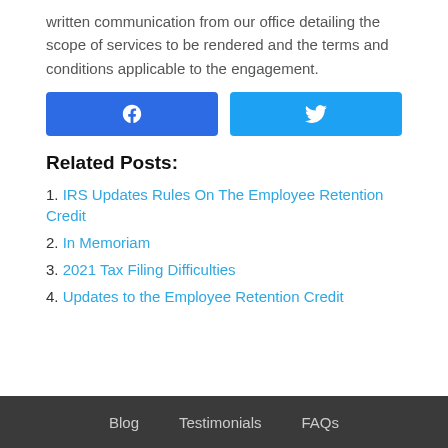written communication from our office detailing the scope of services to be rendered and the terms and conditions applicable to the engagement.
[Figure (other): Two social share buttons: Facebook (blue) and Twitter (light blue)]
Related Posts:
1. IRS Updates Rules On The Employee Retention Credit
2. In Memoriam
3. 2021 Tax Filing Difficulties
4. Updates to the Employee Retention Credit
Blog   Testimonials   FAQs